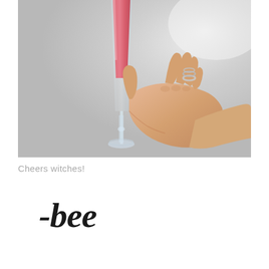[Figure (photo): A hand with silver rings holding a champagne flute filled with a pink/red drink, against a light grey/silver background.]
Cheers witches!
-bee